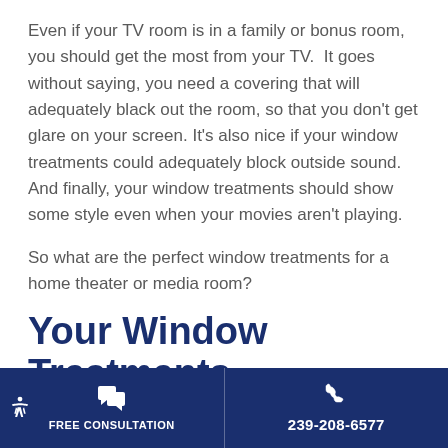Even if your TV room is in a family or bonus room, you should get the most from your TV.  It goes without saying, you need a covering that will adequately black out the room, so that you don't get glare on your screen. It's also nice if your window treatments could adequately block outside sound.  And finally, your window treatments should show some style even when your movies aren't playing.
So what are the perfect window treatments for a home theater or media room?
Your Window Treatments
FREE CONSULTATION | 239-208-6577